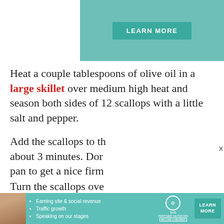[Figure (other): Teal/green banner with a 'LEARN MORE' button]
Heat a couple tablespoons of olive oil in a large skillet over medium high heat and season both sides of 12 scallops with a little salt and pepper.
Add the scallops to th about 3 minutes. Dor pan to get a nice firm
Turn the scallops ove add three tablespoor around and drizzle some of it over the scallops. Do thi for about 3 minutes until the butter starts to...
[Figure (infographic): SHE Partner Network advertisement banner at the bottom with bullet points: Earning site & social revenue, Traffic growth, Speaking on our stages. LEARN MORE button.]